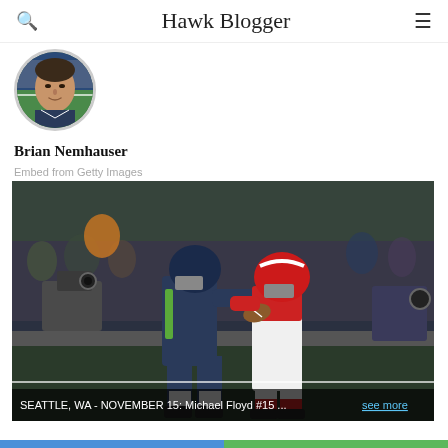Hawk Blogger
[Figure (photo): Circular profile photo of Brian Nemhauser, a man with dark hair and slight smile, photographed in front of a football stadium]
Brian Nemhauser
Embed from Getty Images
[Figure (photo): NFL football game action photo: A Seattle Seahawks player (navy blue uniform) defending against Arizona Cardinals player Michael Floyd #15 (red and white uniform) who is carrying the football, taken at night game in Seattle, WA on November 15]
SEATTLE, WA - NOVEMBER 15: Michael Floyd #15 ... see more